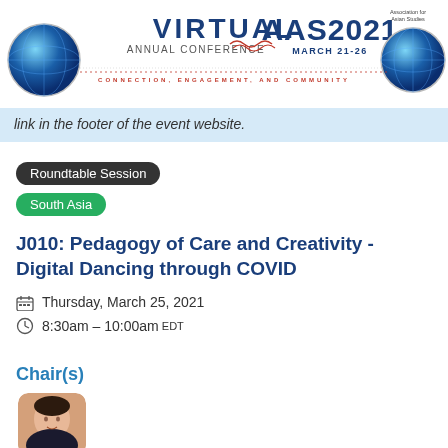Virtual Annual Conference AAS2021 MARCH 21-26
link in the footer of the event website.
Roundtable Session
South Asia
J010: Pedagogy of Care and Creativity - Digital Dancing through COVID
Thursday, March 25, 2021
8:30am – 10:00am EDT
Chair(s)
[Figure (photo): Photo of a woman, Chair of the session]